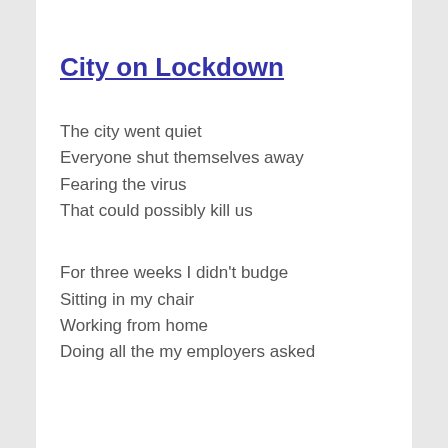City on Lockdown
The city went quiet
Everyone shut themselves away
Fearing the virus
That could possibly kill us
For three weeks I didn't budge
Sitting in my chair
Working from home
Doing all the my employers asked